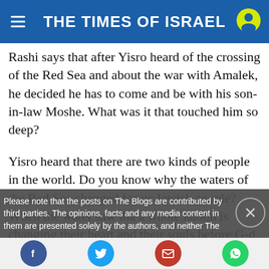THE TIMES OF ISRAEL
Rashi says that after Yisro heard of the crossing of the Red Sea and about the war with Amalek, he decided he has to come and be with his son-in-law Moshe. What was it that touched him so deep?
Yisro heard that there are two kinds of people in the world. Do you know why the waters of the Red Sea changed for us Jewish people? When the water saw that a whole nation is changing their heart and their souls before G-d every second, the water said, “I am changing with you, but I have a whole lot right to?”
Please note that the posts on The Blogs are contributed by third parties. The opinions, facts and any media content in them are presented solely by the authors, and neither The